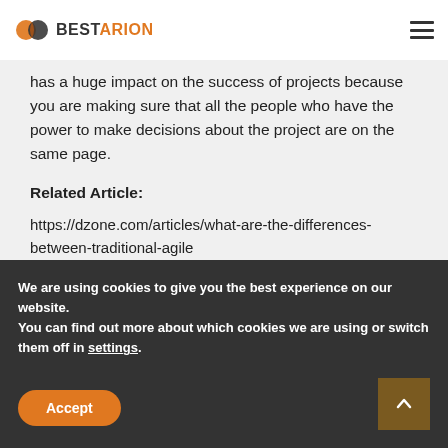BESTARION
has a huge impact on the success of projects because you are making sure that all the people who have the power to make decisions about the project are on the same page.
Related Article:
https://dzone.com/articles/what-are-the-differences-between-traditional-agile
Blog  Agile, keys to project success, methods, principles
We are using cookies to give you the best experience on our website.
You can find out more about which cookies we are using or switch them off in settings.